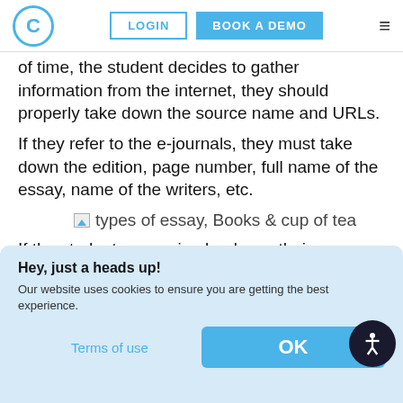C  LOGIN  BOOK A DEMO
of time, the student decides to gather information from the internet, they should properly take down the source name and URLs.
If they refer to the e-journals, they must take down the edition, page number, full name of the essay, name of the writers, etc.
[Figure (photo): Image placeholder with alt text: types of essay, Books & cup of tea]
If the students are using books as their reference material, they must mention it in the citation. Many s c th It p fr
Hey, just a heads up!
Our website uses cookies to ensure you are getting the best experience.
Terms of use   OK